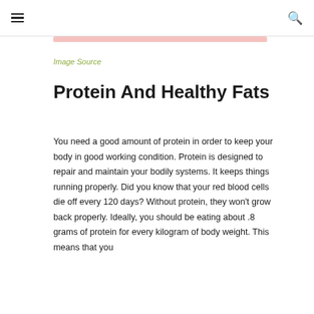≡  🔍
Image Source
Protein And Healthy Fats
You need a good amount of protein in order to keep your body in good working condition. Protein is designed to repair and maintain your bodily systems. It keeps things running properly. Did you know that your red blood cells die off every 120 days? Without protein, they won't grow back properly. Ideally, you should be eating about .8 grams of protein for every kilogram of body weight. This means that you